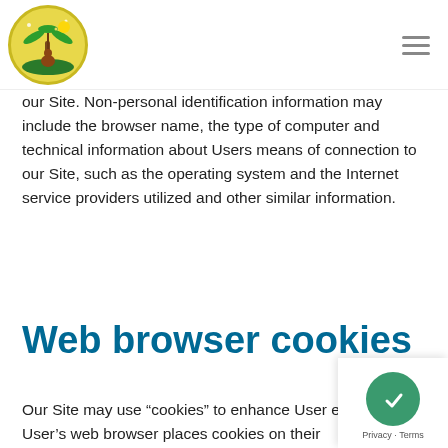[Logo] [Hamburger menu]
our Site. Non-personal identification information may include the browser name, the type of computer and technical information about Users means of connection to our Site, such as the operating system and the Internet service providers utilized and other similar information.
Web browser cookies
Our Site may use “cookies” to enhance User experience. User’s web browser places cookies on their